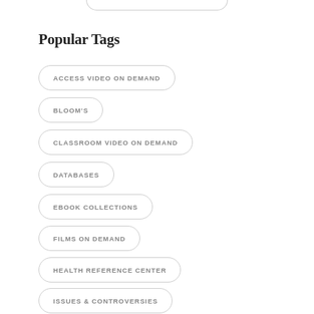Popular Tags
ACCESS VIDEO ON DEMAND
BLOOM'S
CLASSROOM VIDEO ON DEMAND
DATABASES
EBOOK COLLECTIONS
FILMS ON DEMAND
HEALTH REFERENCE CENTER
ISSUES & CONTROVERSIES
ISSUES & CONTROVERSIES IN AMERICAN HISTORY